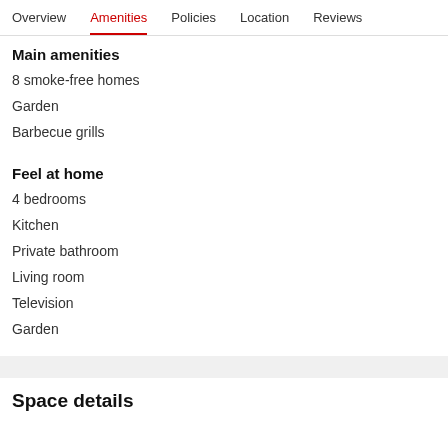Overview  Amenities  Policies  Location  Reviews
Main amenities
8 smoke-free homes
Garden
Barbecue grills
Feel at home
4 bedrooms
Kitchen
Private bathroom
Living room
Television
Garden
Space details